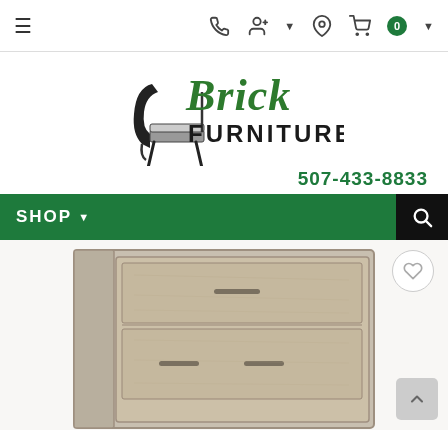Navigation bar with hamburger menu, phone icon, account icon, location icon, and cart (0)
[Figure (logo): Brick Furniture logo with stylized chair and green script/bold text]
507-433-8833
SHOP navigation bar with dropdown arrow and search icon
[Figure (photo): Product photo of a light wood grain dresser with drawer pulls, partially visible]